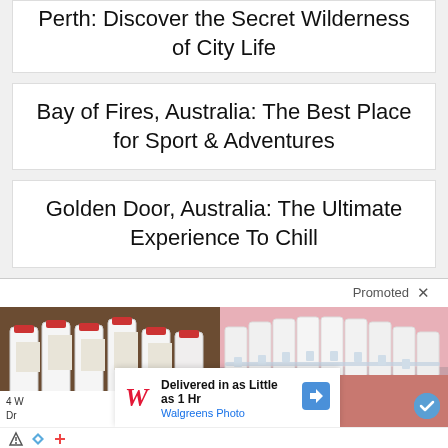Perth: Discover the Secret Wilderness of City Life
Bay of Fires, Australia: The Best Place for Sport & Adventures
Golden Door, Australia: The Ultimate Experience To Chill
[Figure (screenshot): Promoted ad section with two images: pill bottles on the left and dental/teeth image on the right, with a Walgreens Photo overlay ad and small ad controls at bottom left]
Delivered in as Little as 1 Hr Walgreens Photo